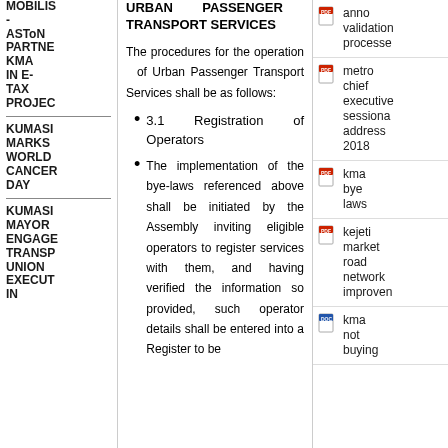MOBILIS - ASToN PARTNE KMA IN E-TAX PROJEC
KUMASI MARKS WORLD CANCER DAY
KUMASI MAYOR ENGAGE TRANSP UNION EXECUT IN
URBAN PASSENGER TRANSPORT SERVICES
The procedures for the operation of Urban Passenger Transport Services shall be as follows:
3.1 Registration of Operators
The implementation of the bye-laws referenced above shall be initiated by the Assembly inviting eligible operators to register services with them, and having verified the information so provided, such operator details shall be entered into a Register to be
anno validation processe
metro chief executive sessiona address 2018
kma bye laws
kejeti market road network improven
kma not buying